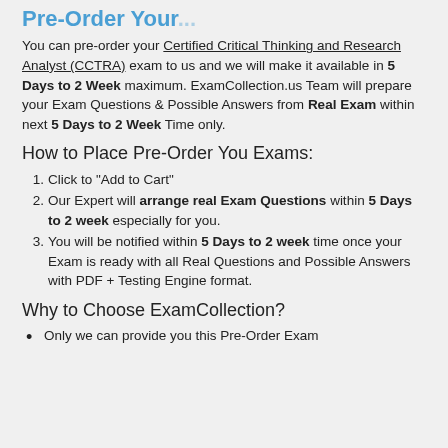Pre-Order Your...
You can pre-order your Certified Critical Thinking and Research Analyst (CCTRA) exam to us and we will make it available in 5 Days to 2 Week maximum. ExamCollection.us Team will prepare your Exam Questions & Possible Answers from Real Exam within next 5 Days to 2 Week Time only.
How to Place Pre-Order You Exams:
Click to "Add to Cart"
Our Expert will arrange real Exam Questions within 5 Days to 2 week especially for you.
You will be notified within 5 Days to 2 week time once your Exam is ready with all Real Questions and Possible Answers with PDF + Testing Engine format.
Why to Choose ExamCollection?
Only we can provide you this Pre-Order Exam